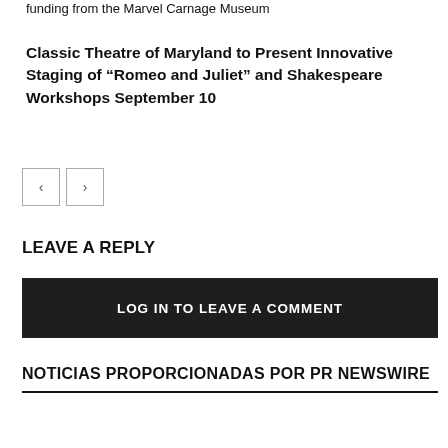funding from the Marvel Carnage Museum
Classic Theatre of Maryland to Present Innovative Staging of “Romeo and Juliet” and Shakespeare Workshops September 10
LEAVE A REPLY
LOG IN TO LEAVE A COMMENT
NOTICIAS PROPORCIONADAS POR PR NEWSWIRE